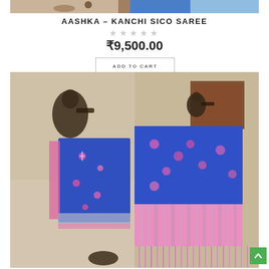[Figure (photo): Top portion of a product image showing saree fabric in tan/blue colors]
AASHKA – KANCHI SICO SAREE
★★★★★ (empty star rating)
₹9,500.00
ADD TO CART
[Figure (photo): Two side-by-side photos of a blue Kanchi Sico saree with pink border and floral motifs, displayed with decorative figurines]